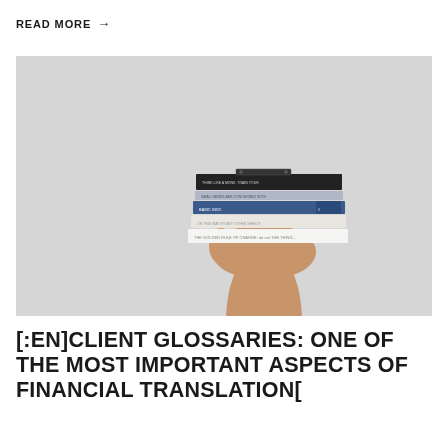READ MORE →
[Figure (photo): A hand holding up a stack of books against a light grey background. The books are stacked horizontally on the palm of an upraised hand and forearm. The books have various colors including black, grey, blue, and white spines.]
[:EN]CLIENT GLOSSARIES: ONE OF THE MOST IMPORTANT ASPECTS OF FINANCIAL TRANSLATION[